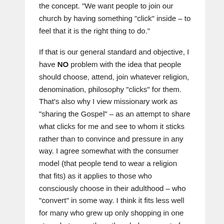the concept. "We want people to join our church by having something "click" inside – to feel that it is the right thing to do."

If that is our general standard and objective, I have NO problem with the idea that people should choose, attend, join whatever religion, denomination, philosophy "clicks" for them. That's also why I view missionary work as "sharing the Gospel" – as an attempt to share what clicks for me and see to whom it sticks rather than to convince and pressure in any way. I agree somewhat with the consumer model (that people tend to wear a religion that fits) as it applies to those who consciously choose in their adulthood – who "convert" in some way. I think it fits less well for many who grew up only shopping in one store, but, even then, the whole concept of "cafeteria Mormons" resonates more with generational Mormons than with those who convert from another religion – and I personally have NO